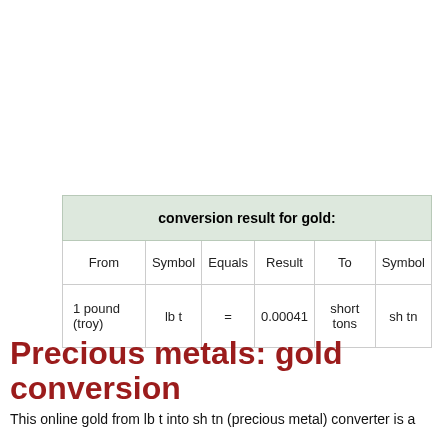| From | Symbol | Equals | Result | To | Symbol |
| --- | --- | --- | --- | --- | --- |
| 1 pound (troy) | lb t | = | 0.00041 | short tons | sh tn |
Precious metals: gold conversion
This online gold from lb t into sh tn (precious metal) converter is a